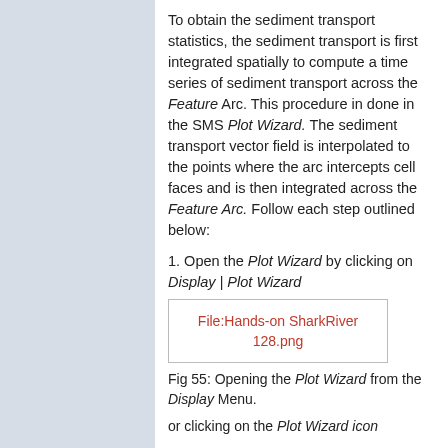To obtain the sediment transport statistics, the sediment transport is first integrated spatially to compute a time series of sediment transport across the Feature Arc. This procedure in done in the SMS Plot Wizard. The sediment transport vector field is interpolated to the points where the arc intercepts cell faces and is then integrated across the Feature Arc. Follow each step outlined below:
1. Open the Plot Wizard by clicking on Display | Plot Wizard
[Figure (other): Placeholder image box with red text: File:Hands-on SharkRiver 128.png]
Fig 55: Opening the Plot Wizard from the Display Menu.
or clicking on the Plot Wizard icon